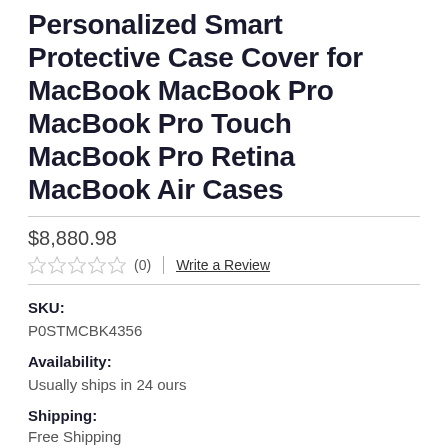Personalized Smart Protective Case Cover for MacBook MacBook Pro MacBook Pro Touch MacBook Pro Retina MacBook Air Cases
$8,880.98
★★★★★ (0) | Write a Review
SKU:
P0STMCBK4356
Availability:
Usually ships in 24 ours
Shipping:
Free Shipping